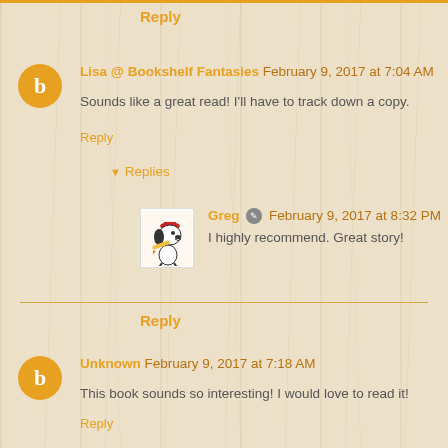Reply
Lisa @ Bookshelf Fantasies February 9, 2017 at 7:04 AM
Sounds like a great read! I'll have to track down a copy.
Reply
Replies
Greg February 9, 2017 at 8:32 PM
I highly recommend. Great story!
Reply
Unknown February 9, 2017 at 7:18 AM
This book sounds so interesting! I would love to read it!
Reply